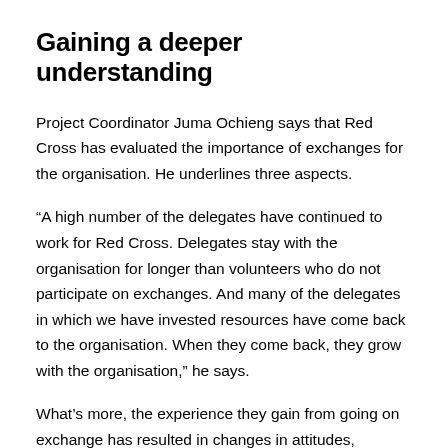Gaining a deeper understanding
Project Coordinator Juma Ochieng says that Red Cross has evaluated the importance of exchanges for the organisation. He underlines three aspects.
“A high number of the delegates have continued to work for Red Cross. Delegates stay with the organisation for longer than volunteers who do not participate on exchanges. And many of the delegates in which we have invested resources have come back to the organisation. When they come back, they grow with the organisation,” he says.
What’s more, the experience they gain from going on exchange has resulted in changes in attitudes, particularly in their lives.